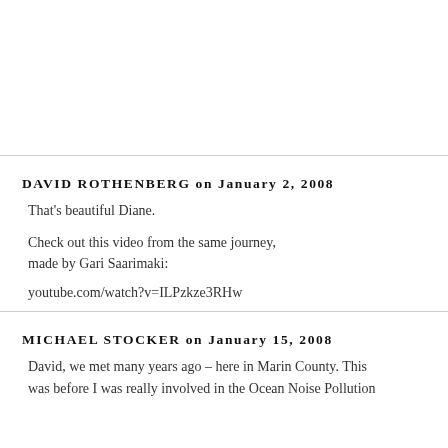DAVID ROTHENBERG on January 2, 2008
That's beautiful Diane.
Check out this video from the same journey, made by Gari Saarimaki:
youtube.com/watch?v=ILPzkze3RHw
MICHAEL STOCKER on January 15, 2008
David, we met many years ago – here in Marin County. This was before I was really involved in the Ocean Noise Pollution